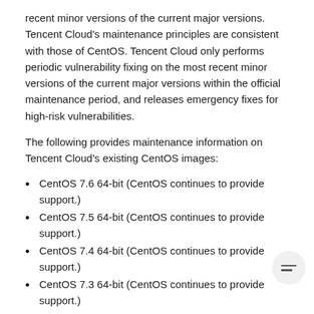recent minor versions of the current major versions. Tencent Cloud's maintenance principles are consistent with those of CentOS. Tencent Cloud only performs periodic vulnerability fixing on the most recent minor versions of the current major versions within the official maintenance period, and releases emergency fixes for high-risk vulnerabilities.
The following provides maintenance information on Tencent Cloud's existing CentOS images:
CentOS 7.6 64-bit (CentOS continues to provide support.)
CentOS 7.5 64-bit (CentOS continues to provide support.)
CentOS 7.4 64-bit (CentOS continues to provide support.)
CentOS 7.3 64-bit (CentOS continues to provide support.)
CentOS 7.2 64-bit (CentOS continues to provide support.)
CentOS 7.1 64-bit (CentOS has stopped providing support.)
CentOS 7.0 64-bit (CentOS has stopped providing supr
CentOS 6.9 32-bit/64-bit (CentOS continues to provide support until the next version is released.)